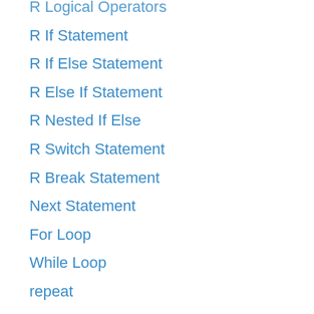R Logical Operators
R If Statement
R If Else Statement
R Else If Statement
R Nested If Else
R Switch Statement
R Break Statement
Next Statement
For Loop
While Loop
repeat
Vector
Data Frame
List